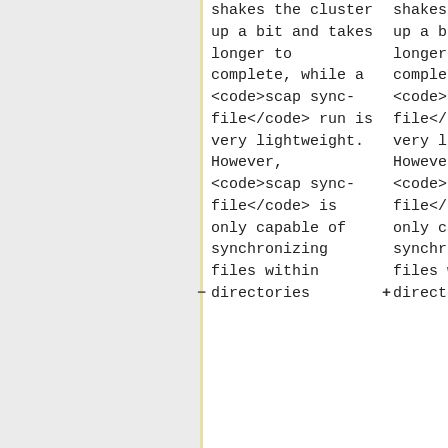shakes the cluster up a bit and takes longer to complete, while a <code>scap sync-file</code> run is very lightweight. However, <code>scap sync-file</code> is only capable of synchronizing files within directories
shakes the cluster up a bit and takes longer to complete, while a <code>scap sync-file</code> run is very lightweight. However, <code>scap sync-file</code> is only capable of synchronizing files within directories